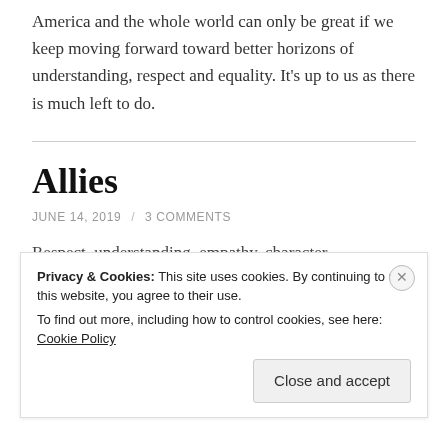America and the whole world can only be great if we keep moving forward toward better horizons of understanding, respect and equality. It's up to us as there is much left to do.
Allies
JUNE 14, 2019 / 3 COMMENTS
Respect, understanding, empathy, character,
Privacy & Cookies: This site uses cookies. By continuing to use this website, you agree to their use. To find out more, including how to control cookies, see here: Cookie Policy
Close and accept